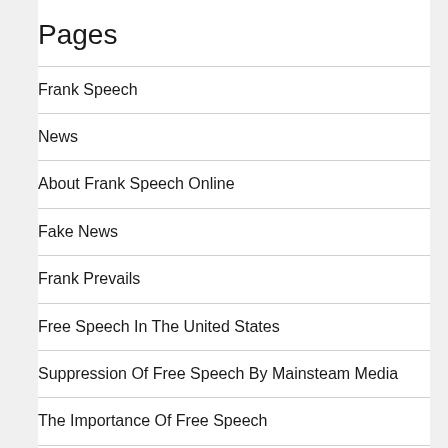Pages
Frank Speech
News
About Frank Speech Online
Fake News
Frank Prevails
Free Speech In The United States
Suppression Of Free Speech By Mainsteam Media
The Importance Of Free Speech
Uncensored Social Media
Your Rights To Free Speech Suppressed
Latest Posts